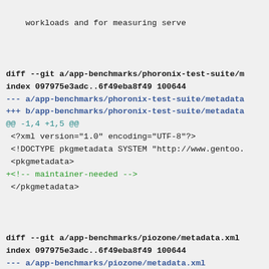workloads and for measuring serve
diff --git a/app-benchmarks/phoronix-test-suite/m
index 097975e3adc..6f49eba8f49 100644
--- a/app-benchmarks/phoronix-test-suite/metadata
+++ b/app-benchmarks/phoronix-test-suite/metadata
@@ -1,4 +1,5 @@
 <?xml version="1.0" encoding="UTF-8"?>
 <!DOCTYPE pkgmetadata SYSTEM "http://www.gentoo.
 <pkgmetadata>
+<!-- maintainer-needed -->
 </pkgmetadata>
diff --git a/app-benchmarks/piozone/metadata.xml
index 097975e3adc..6f49eba8f49 100644
--- a/app-benchmarks/piozone/metadata.xml
+++ b/app-benchmarks/piozone/metadata.xml
@@ -1,4 +1,5 @@
 <?xml version="1.0" encoding="UTF-8"?>
 <!DOCTYPE pkgmetadata SYSTEM "http://www.gentoo.
 <pkgmetadata>
+<!-- maintainer-needed -->